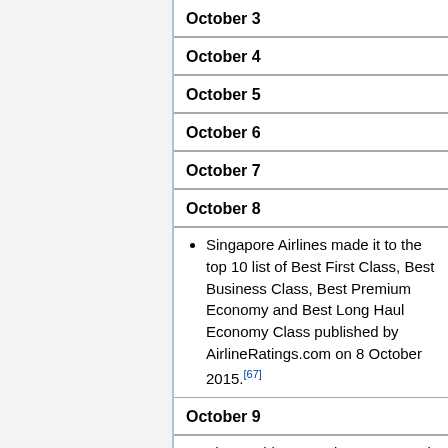October 3
October 4
October 5
October 6
October 7
October 8
Singapore Airlines made it to the top 10 list of Best First Class, Best Business Class, Best Premium Economy and Best Long Haul Economy Class published by AirlineRatings.com on 8 October 2015.[67]
October 9
The World Economic Forum rated Singapore as the world's most...